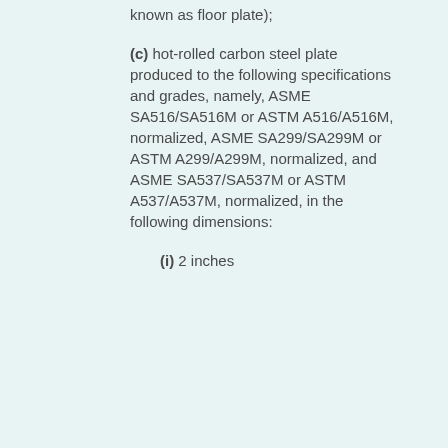known as floor plate);
(c) hot-rolled carbon steel plate produced to the following specifications and grades, namely, ASME SA516/SA516M or ASTM A516/A516M, normalized, ASME SA299/SA299M or ASTM A299/A299M, normalized, and ASME SA537/SA537M or ASTM A537/A537M, normalized, in the following dimensions:
(i) 2 inches